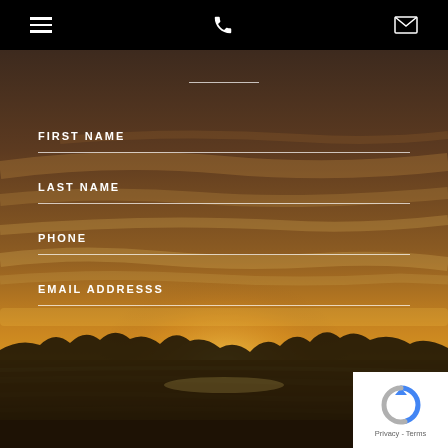[Figure (screenshot): Mobile website contact form with black navigation bar at top containing hamburger menu, phone icon, and envelope icon. Background is a sunset/golden hour landscape photo. Form has fields for FIRST NAME, LAST NAME, PHONE, and EMAIL ADDRESSS. A horizontal divider line appears near top of background section. A reCAPTCHA Privacy-Terms badge is visible in bottom right corner.]
☰  📞  ✉
FIRST NAME
LAST NAME
PHONE
EMAIL ADDRESSS